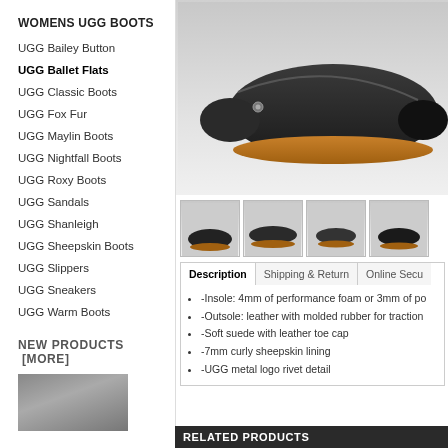WOMENS UGG BOOTS
UGG Bailey Button
UGG Ballet Flats
UGG Classic Boots
UGG Fox Fur
UGG Maylin Boots
UGG Nightfall Boots
UGG Roxy Boots
UGG Sandals
UGG Shanleigh
UGG Sheepskin Boots
UGG Slippers
UGG Sneakers
UGG Warm Boots
NEW PRODUCTS  [MORE]
[Figure (photo): New products thumbnail image - grey gradient background]
[Figure (photo): Main product photo of black UGG Ballet Flat shoe with tan sole, side view]
[Figure (photo): Thumbnail 1: black ballet flat, angled view]
[Figure (photo): Thumbnail 2: black ballet flat, sole view]
[Figure (photo): Thumbnail 3: black ballet flat, top view]
[Figure (photo): Thumbnail 4: black ballet flat, quarter view (partially visible)]
Description | Shipping & Return | Online Secu...
-Insole: 4mm of performance foam or 3mm of po...
-Outsole: leather with molded rubber for traction
-Soft suede with leather toe cap
-7mm curly sheepskin lining
-UGG metal logo rivet detail
RELATED PRODUCTS